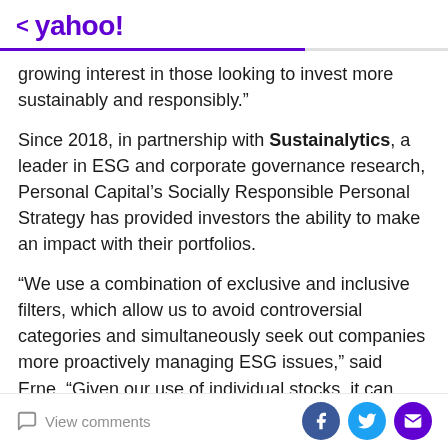< yahoo!
growing interest in those looking to invest more sustainably and responsibly.”
Since 2018, in partnership with Sustainalytics, a leader in ESG and corporate governance research, Personal Capital’s Socially Responsible Personal Strategy has provided investors the ability to make an impact with their portfolios.
“We use a combination of exclusive and inclusive filters, which allow us to avoid controversial categories and simultaneously seek out companies more proactively managing ESG issues,” said Erne. “Given our use of individual stocks, it can offer greater tax efficiency and
View comments